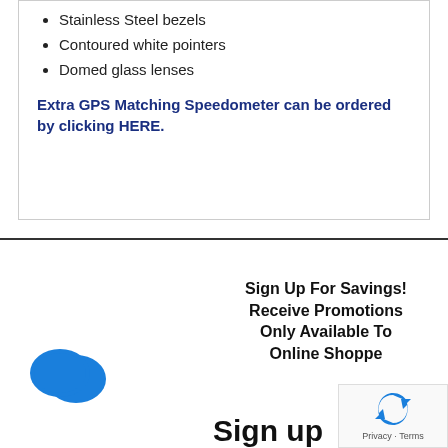Stainless Steel bezels
Contoured white pointers
Domed glass lenses
Extra GPS Matching Speedometer can be ordered by clicking HERE.
Sign Up For Savings! Receive Promotions Only Available To Online Shoppers
Sign up